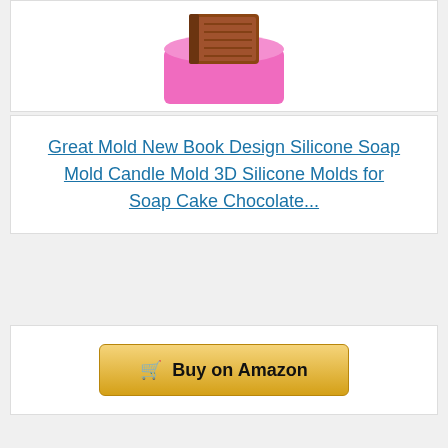[Figure (photo): Pink silicone soap mold with brown chocolate/book design on top]
Great Mold New Book Design Silicone Soap Mold Candle Mold 3D Silicone Molds for Soap Cake Chocolate...
[Figure (other): Buy on Amazon button]
Bestseller No. 2
[Figure (photo): Book cover: How to Make Handmade Candles at Home, with green candles image]